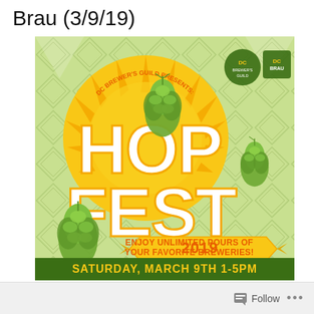Brau (3/9/19)
[Figure (illustration): DC Brewer's Guild Presents: Hop Fest 2019 event flyer. Features large 'HOP FEST 2019' text with hop cone illustrations on a yellow and green argyle background. Text reads: 'Enjoy unlimited pours of the hoppiest offerings from your favorite breweries! Saturday, March 9th 1-5PM'. DC Brewer's Guild and DC Brau logos in upper right.]
Follow ...